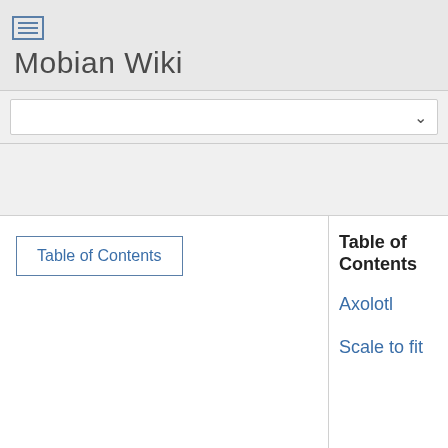Mobian Wiki
Table of Contents
Table of Contents
Axolotl
Scale to fit